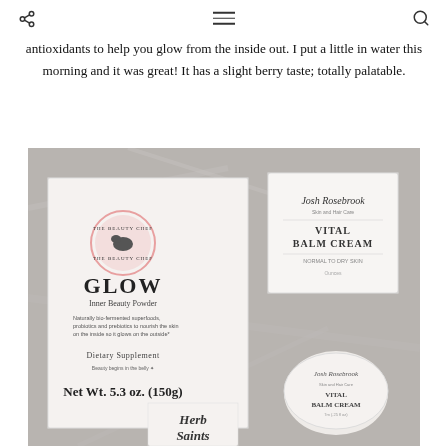navigation bar with share icon, hamburger menu, and search icon
antioxidants to help you glow from the inside out. I put a little in water this morning and it was great! It has a slight berry taste; totally palatable.
[Figure (photo): Flat lay photograph on a grey marble surface showing beauty products: The Beauty Chef GLOW Inner Beauty Powder box (Net Wt. 5.3 oz. / 150g, Dietary Supplement), Josh Rosebrook Vital Balm Cream jar (Normal to Dry Skin), a smaller Josh Rosebrook Vital Balm Cream jar, and partial Herb Saints product packaging.]